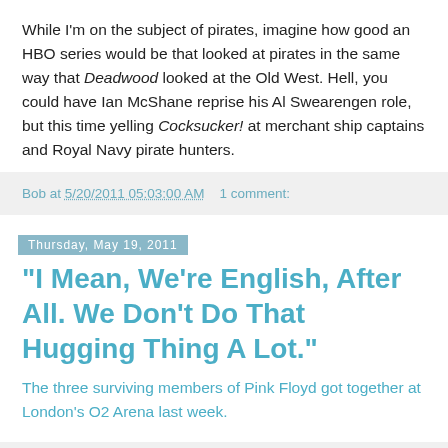While I'm on the subject of pirates, imagine how good an HBO series would be that looked at pirates in the same way that Deadwood looked at the Old West. Hell, you could have Ian McShane reprise his Al Swearengen role, but this time yelling Cocksucker! at merchant ship captains and Royal Navy pirate hunters.
Bob at 5/20/2011 05:03:00 AM    1 comment:
Thursday, May 19, 2011
"I Mean, We're English, After All. We Don't Do That Hugging Thing A Lot."
The three surviving members of Pink Floyd got together at London's O2 Arena last week.
Bob at 5/19/2011 11:14:00 AM    No comments: